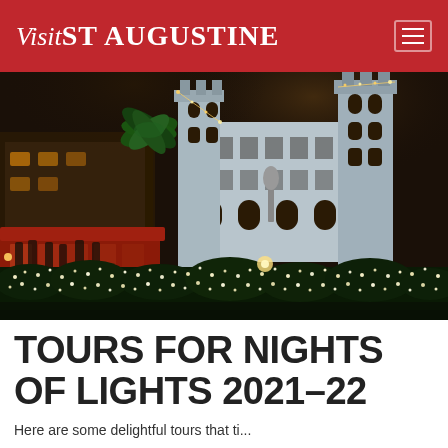Visit St Augustine
[Figure (photo): Night photo of St. Augustine's Plaza de la Constitucion decorated with Christmas lights. A tram full of tourists passes in the foreground while the illuminated Lightner Museum (former Hotel Alcazar) stands in the background, with hedges covered in white fairy lights.]
TOURS FOR NIGHTS OF LIGHTS 2021-22
Here are some delightful tours that ti...